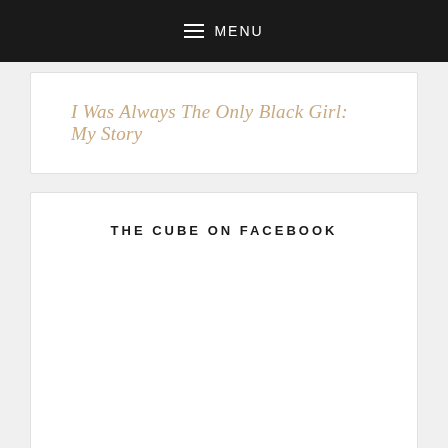MENU
I Was Always The Only Black Girl: My Story
THE CUBE ON FACEBOOK